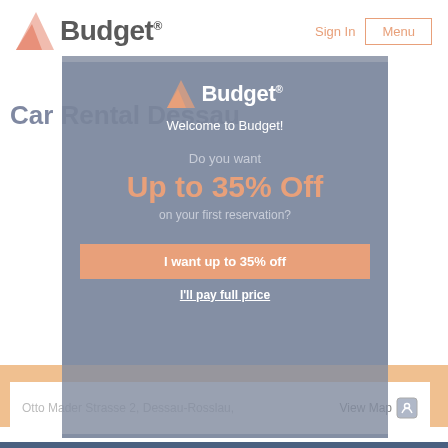[Figure (screenshot): Budget car rental website screenshot showing header with Budget logo, Sign In link, and Menu button, overlaid with a modal popup offering up to 35% off first reservation, with location bar showing Otto Mader Strasse 2, Dessau-Rosslau]
Budget® Sign In Menu
Car Rental Dessau
Welcome to Budget!
Do you want
Up to 35% Off
on your first reservation?
I want up to 35% off
I'll pay full price
Otto Mader Strasse 2, Dessau-Rosslau,
View Map